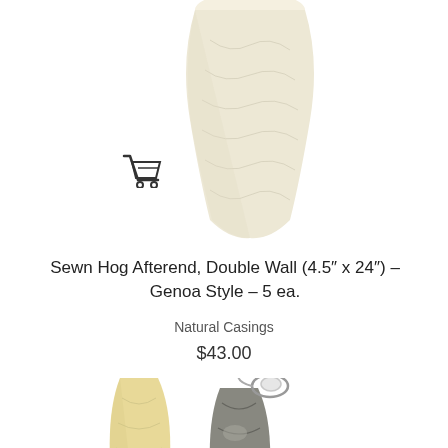[Figure (photo): A white/cream colored sewn hog afterend casing, shown partially at the top of the page, textured natural casing product]
[Figure (illustration): Shopping cart icon]
Sewn Hog Afterend, Double Wall (4.5″ x 24″) – Genoa Style – 5 ea.
Natural Casings
$43.00
[Figure (photo): Two sausage casing products side by side: a pale yellow/cream natural casing on the left and a dark mottled casing with a metal hook/clip on the right, shown in the bottom half of the page]